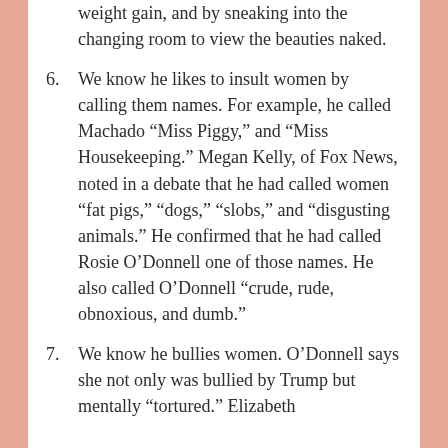weight gain, and by sneaking into the changing room to view the beauties naked.
6. We know he likes to insult women by calling them names. For example, he called Machado “Miss Piggy,” and “Miss Housekeeping.” Megan Kelly, of Fox News, noted in a debate that he had called women “fat pigs,” “dogs,” “slobs,” and “disgusting animals.” He confirmed that he had called Rosie O’Donnell one of those names. He also called O’Donnell “crude, rude, obnoxious, and dumb.”
7. We know he bullies women. O’Donnell says she not only was bullied by Trump but mentally “tortured.” Elizabeth